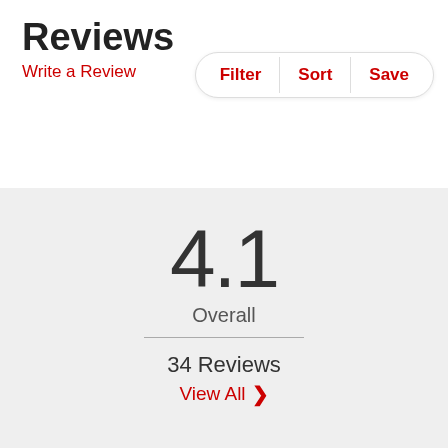Reviews
Write a Review
Filter | Sort | Save
4.1
Overall
34 Reviews
View All ›
0